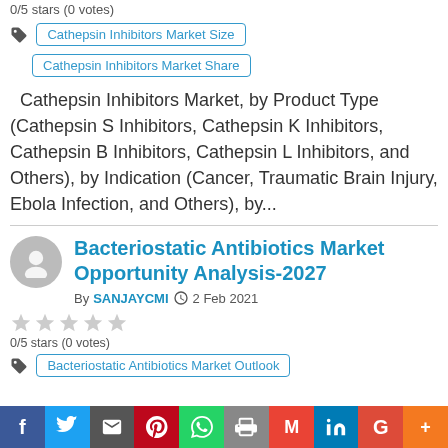0/5 stars (0 votes)
Cathepsin Inhibitors Market Size
Cathepsin Inhibitors Market Share
Cathepsin Inhibitors Market, by Product Type (Cathepsin S Inhibitors, Cathepsin K Inhibitors, Cathepsin B Inhibitors, Cathepsin L Inhibitors, and Others), by Indication (Cancer, Traumatic Brain Injury, Ebola Infection, and Others), by...
Bacteriostatic Antibiotics Market Opportunity Analysis-2027
By SANJAYCMI  2 Feb 2021
0/5 stars (0 votes)
Bacteriostatic Antibiotics Market Outlook
f  Twitter  Email  Pinterest  WhatsApp  Print  Gmail  LinkedIn  Google  More